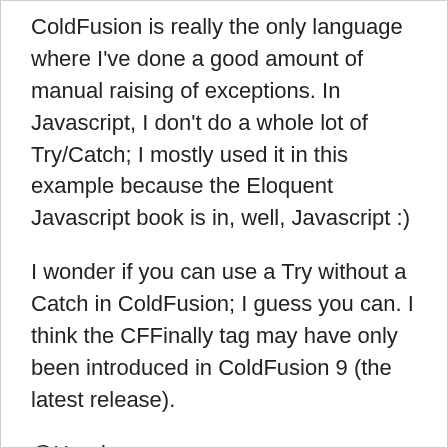ColdFusion is really the only language where I've done a good amount of manual raising of exceptions. In Javascript, I don't do a whole lot of Try/Catch; I mostly used it in this example because the Eloquent Javascript book is in, well, Javascript :)
I wonder if you can use a Try without a Catch in ColdFusion; I guess you can. I think the CFFinally tag may have only been introduced in ColdFusion 9 (the latest release).
@Henrique,
Yeah, good thought. But, also, this only makes sense if the CFCatch's are going to